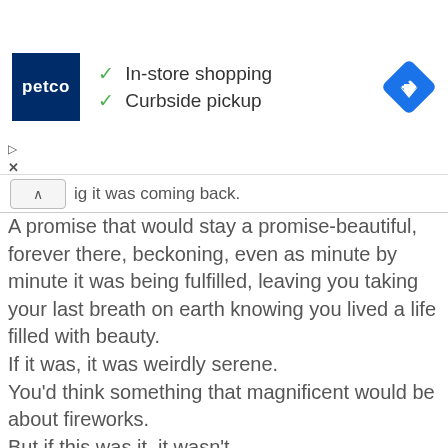[Figure (infographic): Petco advertisement banner showing Petco logo, checkmarks for In-store shopping and Curbside pickup, and a blue navigation diamond icon]
ig it was coming back.
A promise that would stay a promise-beautiful, forever there, beckoning, even as minute by minute it was being fulfilled, leaving you taking your last breath on earth knowing you lived a life filled with beauty.
If it was, it was weirdly serene.
You'd think something that magnificent would be about fireworks.
But if this was it, it wasn't.
It was quiet, tranquil, comfortable.
Beauty. — Kristen Ashley